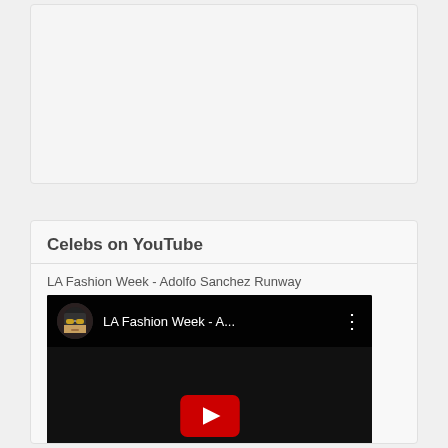[Figure (screenshot): Empty light gray card/panel area at the top of the page]
Celebs on YouTube
LA Fashion Week - Adolfo Sanchez Runway
[Figure (screenshot): YouTube video embed showing LA Fashion Week - A... with a play button overlay on a dark runway background. Channel avatar shows an illustrated character with sunglasses.]